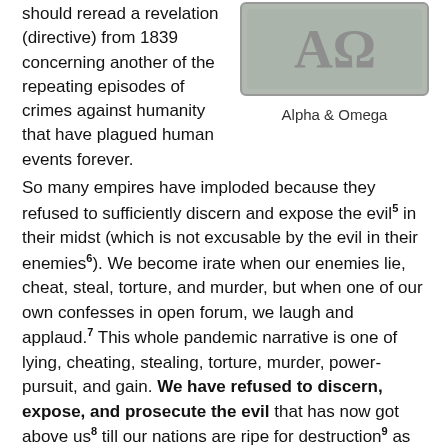should reread a revelation (directive) from 1839 concerning another of the repeating episodes of crimes against humanity that have plagued human events forever. So many empires have imploded because they refused to sufficiently discern and expose the evil5 in their midst (which is not excusable by the evil in their enemies6). We become irate when our enemies lie, cheat, steal, torture, and murder, but when one of our own confesses in open forum, we laugh and applaud.7 This whole pandemic narrative is one of lying, cheating, stealing, torture, murder, power-pursuit, and gain. We have refused to discern, expose, and prosecute the evil that has now got above us8 till our nations are ripe for destruction9 as foretold by the great Alpha & Omega.
[Figure (illustration): Alpha & Omega emblem/logo on grey background with stylized lettering]
Alpha & Omega
If we ever come to learn the depth of evil we have refused to discern, expose, and prosecute, we may then understand how the “dark and blackening deeds are enough to make hell itself shudder” to quote a dead state statesman.